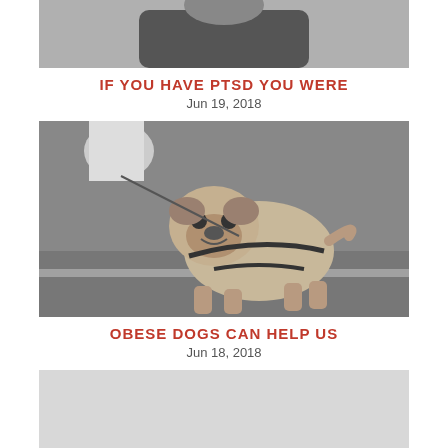[Figure (photo): Top portion of a black and white photo showing a person from behind, partially cropped]
IF YOU HAVE PTSD YOU WERE
Jun 19, 2018
[Figure (photo): Black and white photo of an obese pug dog on a leash walking on pavement]
OBESE DOGS CAN HELP US
Jun 18, 2018
[Figure (photo): Light gray placeholder image rectangle]
OUR BRAINS ARE CRAVING
Jun 15, 2018